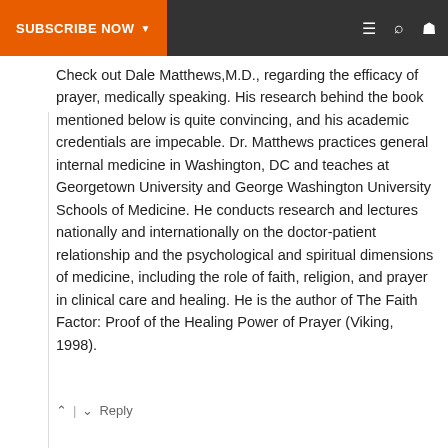SUBSCRIBE NOW
Check out Dale Matthews,M.D., regarding the efficacy of prayer, medically speaking. His research behind the book mentioned below is quite convincing, and his academic credentials are impecable. Dr. Matthews practices general internal medicine in Washington, DC and teaches at Georgetown University and George Washington University Schools of Medicine. He conducts research and lectures nationally and internationally on the doctor-patient relationship and the psychological and spiritual dimensions of medicine, including the role of faith, religion, and prayer in clinical care and healing. He is the author of The Faith Factor: Proof of the Healing Power of Prayer (Viking, 1998).